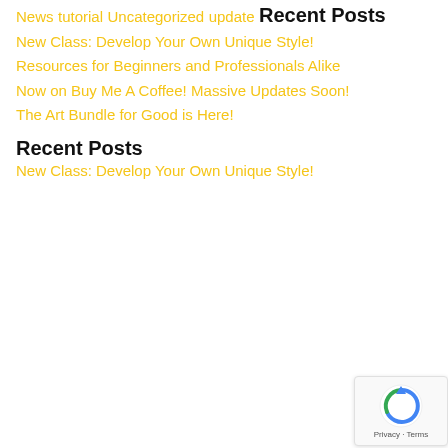News
tutorial
Uncategorized
update
Recent Posts
New Class: Develop Your Own Unique Style!
Resources for Beginners and Professionals Alike
Now on Buy Me A Coffee!
Massive Updates Soon!
The Art Bundle for Good is Here!
Recent Posts
New Class: Develop Your Own Unique Style!